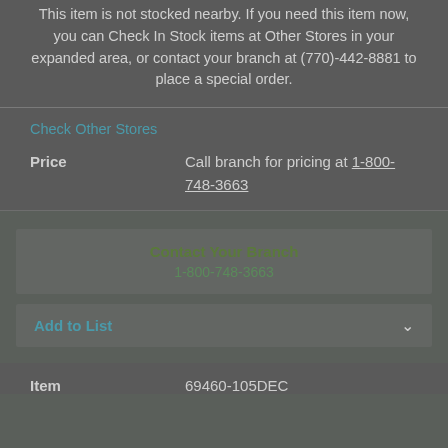This item is not stocked nearby. If you need this item now, you can Check In Stock items at Other Stores in your expanded area, or contact your branch at (770)-442-8881 to place a special order.
Check Other Stores
Price   Call branch for pricing at 1-800-748-3663
Contact Your Branch
1-800-748-3663
Add to List
Item   69460-105DEC